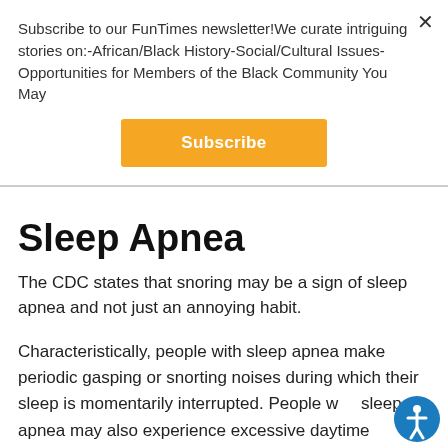Subscribe to our FunTimes newsletter!We curate intriguing stories on:-African/Black History-Social/Cultural Issues-Opportunities for Members of the Black Community You May
Subscribe
Sleep Apnea
The CDC states that snoring may be a sign of sleep apnea and not just an annoying habit.
Characteristically, people with sleep apnea make periodic gasping or snorting noises during which their sleep is momentarily interrupted. People with sleep apnea may also experience excessive daytime sleepiness, other nighttime sleep issues, and...